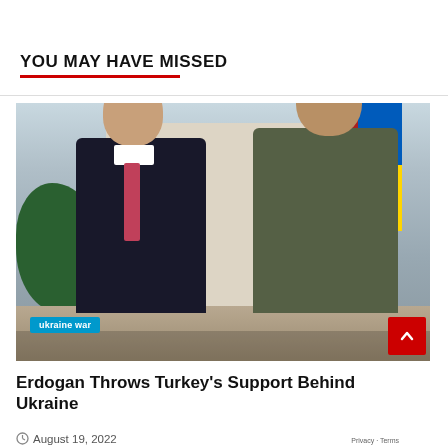YOU MAY HAVE MISSED
[Figure (photo): Two men standing side by side outdoors in front of a white building with a Ukrainian flag visible in the background. The man on the left wears a dark suit with a pink tie. The man on the right wears an olive green t-shirt.]
ukraine war
Erdogan Throws Turkey's Support Behind Ukraine
August 19, 2022